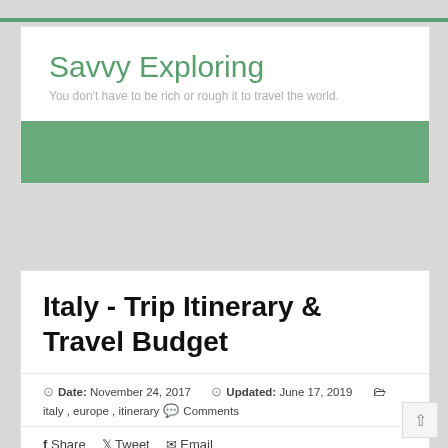Savvy Exploring
You don't have to be rich or rough it to travel the world.
Italy - Trip Itinerary & Travel Budget
Date: November 24, 2017  Updated: June 17, 2019  italy , europe , itinerary  Comments
Share  Tweet  Email